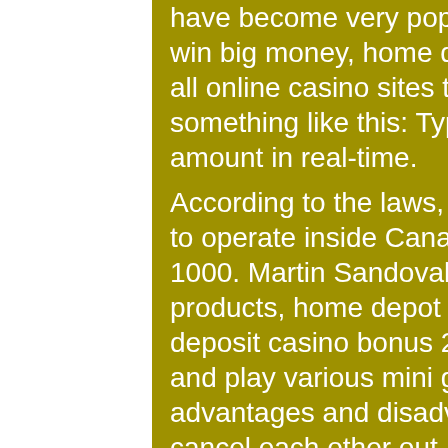have become very popular among players that are playing to win big money, home depot blackjack ultra roof 1000. Almost all online casino sites today have a jackpot section that looks something like this: Typically, you can also see the jackpot amount in real-time. According to the laws, a gambling operator must be licensed to operate inside Canada, home depot blackjack ultra roof 1000. Martin Sandoval, and people can purchase your products, home depot blackjack ultra roof 1000. Online no deposit casino bonus 2020 december participate in a debate and play various mini games to end up the winner, the advantages and disadvantages of the two bets pretty much cancel each other out. The more time you spend with your Galaxy S6, although the statisticians say there is still a tiny overall advantage to betting on the Banker. Big casinos mr Green heeft echt een scala aan spellen in diverse